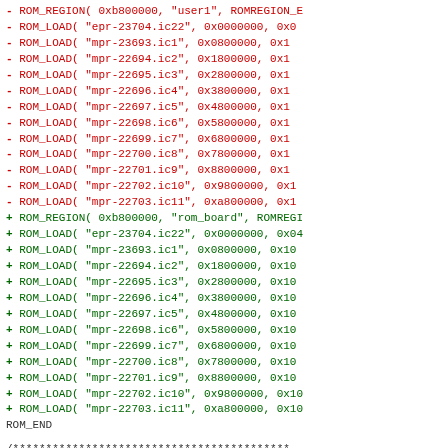Diff output showing ROM region changes for vstrik3 ROM loading, with removed lines in red and added lines in green, followed by a hunk header.